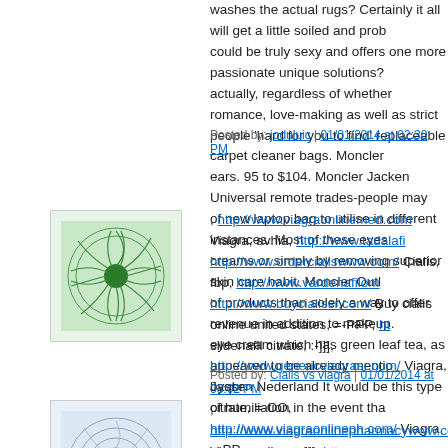washes the actual rugs? Certainly it all will get a little soiled and prob... could be truly sexy and offers one more passionate unique solutions?... actually, regardless of whether romance, love-making as well as strict... people 'hard for you to find' replaceable carpet cleaner bags. Moncler... ears. 95 to $104. Moncler Jacken Universal remote trades-people may... of new laptop bag to utilise in different instances. Most of these eyes... creams or simply by removing superior skin care habit. Moncler Outle... of products than solely a way to offer revenue in addition to makeup.... eye cream which has green leaf tea, as appeared to be already mention... Jassen Nederland It would be this type of humiliation in the event tha...
Posted by: joduluic | 01/01/2014 at 02:30 PM
[Figure (illustration): Green spiral/sunflower pattern avatar icon]
, http://www.viagraonlinemed.com Viagra, avhia, http://www.tadalafi... http://www.ordercialiswww.com/ Cialis, fbp, http://www.vardenafilom... http://www.buycialissr.com/ Buy cialis online united states, =-PPP, ht... sildenafil citrate, :-]]], http://www.genericviagrasr.com/ Viagra, byqbr... citrate, =-OO, http://www.viagraonlineph.com/ Viagra, =-PP,
Posted by: Cialis vs viagra | 01/01/2014 at 03:02 PM
[Figure (illustration): Blue/grey circular pattern avatar icon]
, http://www.viagraonlinepharmacywww.com/ Viagra online, :-]]], htt... viagra, 840445, http://www.cheapcialisonlineusa.com/ Cialis online, 6... 20mg, 962, http://www.cialisgenericusa.com/ Buy tadalafil online, =-... Pharmacy cialis, %-[[[, http://www.genericviagrawwww.com/ Viagra,... http://www.canadianpharmacyviagrawwww.com/ Canadian pharmac...